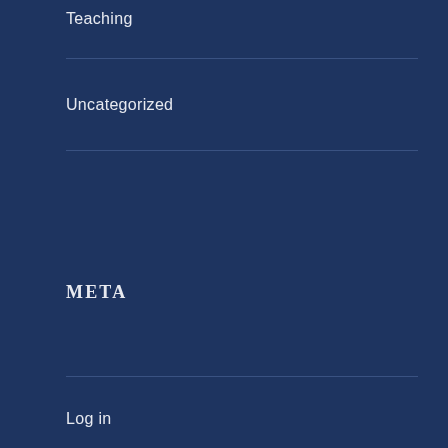Teaching
Uncategorized
META
Log in
Entries feed
Comments feed
WordPress.org